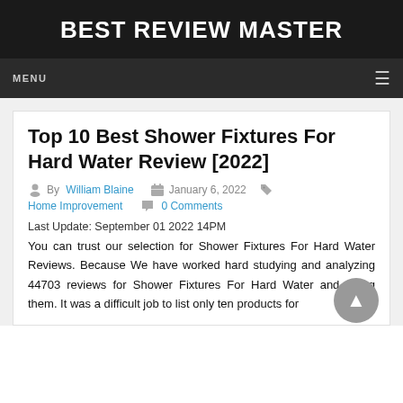BEST REVIEW MASTER
MENU
Top 10 Best Shower Fixtures For Hard Water Review [2022]
By William Blaine  January 6, 2022  Home Improvement  0 Comments
Last Update: September 01 2022 14PM
You can trust our selection for Shower Fixtures For Hard Water Reviews. Because We have worked hard studying and analyzing 44703 reviews for Shower Fixtures For Hard Water and rating them. It was a difficult job to list only ten products for